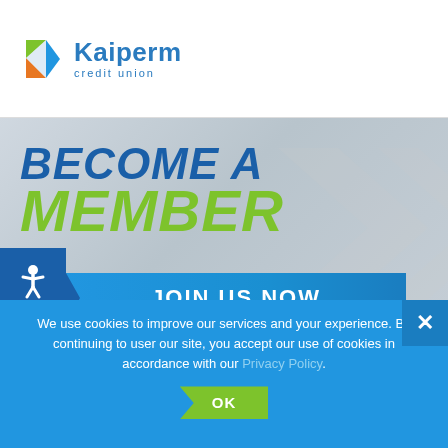[Figure (logo): Kaiperm Credit Union logo with colorful K icon (green, blue, orange triangles) and blue text 'Kaiperm credit union']
BECOME A MEMBER
JOIN US NOW
Apply online today, and we'll help you work toward your personal financial goals, and as a member,
We use cookies to improve our services and your experience. By continuing to user our site, you accept our use of cookies in accordance with our Privacy Policy.
OK